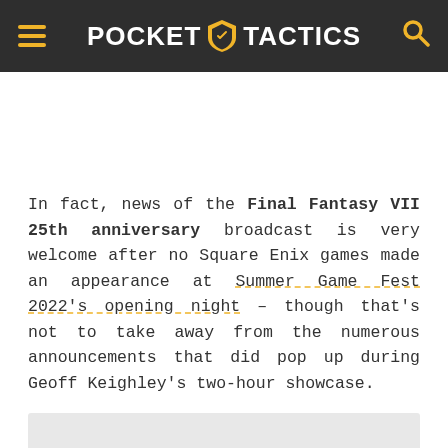Pocket Tactics
In fact, news of the Final Fantasy VII 25th anniversary broadcast is very welcome after no Square Enix games made an appearance at Summer Game Fest 2022's opening night – though that's not to take away from the numerous announcements that did pop up during Geoff Keighley's two-hour showcase.
[Figure (other): Gray placeholder box for an advertisement or embedded media]